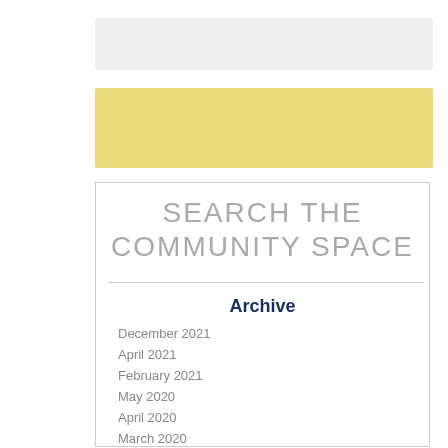[Figure (other): Gray horizontal bar at top]
[Figure (other): Yellow/tan horizontal bar below gray bar]
SEARCH THE COMMUNITY SPACE
Archive
December 2021
April 2021
February 2021
May 2020
April 2020
March 2020
February 2020
January 2020